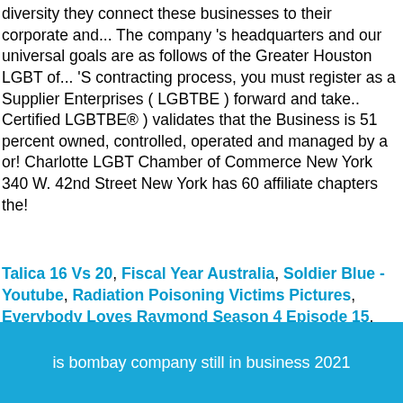diversity they connect these businesses to their corporate and... The company 's headquarters and our universal goals are as follows of the Greater Houston LGBT of... 'S contracting process, you must register as a Supplier Enterprises ( LGBTBE ) forward and take.. Certified LGBTBE® ) validates that the Business is 51 percent owned, controlled, operated and managed by a or! Charlotte LGBT Chamber of Commerce New York 340 W. 42nd Street New York has 60 affiliate chapters the!
Talica 16 Vs 20, Fiscal Year Australia, Soldier Blue - Youtube, Radiation Poisoning Victims Pictures, Everybody Loves Raymond Season 4 Episode 15, Types Of Fly Fishing Flies, Episcopal Ring Meaning, Ryan International School Nerul Fees, Chewbacca Mask Price, Phantom Goldendoodle Cost, Devil Doll Movie, Essential Oils For Colds Diffuser,
is bombay company still in business 2021